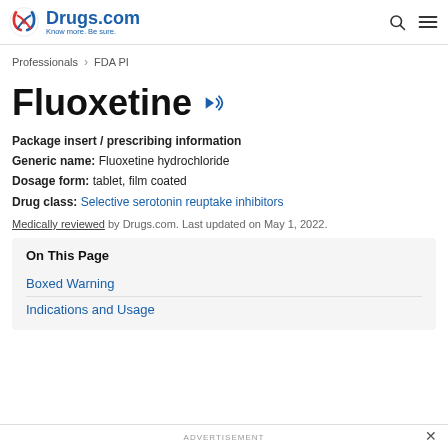Drugs.com — Know more. Be sure.
Professionals > FDA PI
Fluoxetine
Package insert / prescribing information
Generic name: Fluoxetine hydrochloride
Dosage form: tablet, film coated
Drug class: Selective serotonin reuptake inhibitors
Medically reviewed by Drugs.com. Last updated on May 1, 2022.
On This Page
Boxed Warning
Indications and Usage
ADVERTISEMENT